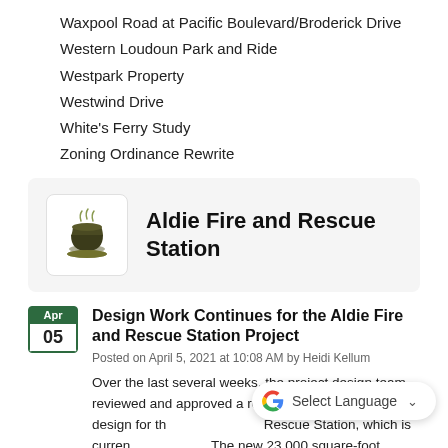Waxpool Road at Pacific Boulevard/Broderick Drive
Western Loudoun Park and Ride
Westpark Property
Westwind Drive
White's Ferry Study
Zoning Ordinance Rewrite
Aldie Fire and Rescue Station
Design Work Continues for the Aldie Fire and Rescue Station Project
Posted on April 5, 2021 at 10:08 AM by Heidi Kellum
Over the last several weeks, the project design team reviewed and approved a revised mechanical system design for the Aldie Fire and Rescue Station, which is currently... The new 23,000 square-foot station will be